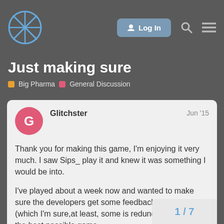Just making sure — Big Pharma — General Discussion forum header with Log In button
Just making sure
Big Pharma   General Discussion
Glitchster   Jun '15
Thank you for making this game, I'm enjoying it very much. I saw Sips_ play it and knew it was something I would be into.

I've played about a week now and wanted to make sure the developers get some feedback and ideas (which I'm sure,at least, some is redundant) to make the best possible game.

I'm sure everyone knows the conveyor b work still. I don't know why you have to h
1 / 7